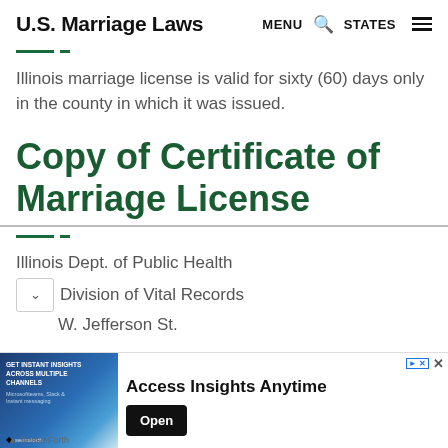U.S. Marriage Laws  MENU  STATES
Illinois marriage license is valid for sixty (60) days only in the county in which it was issued.
Copy of Certificate of Marriage License
Illinois Dept. of Public Health
Division of Vital Records
W. Jefferson St.